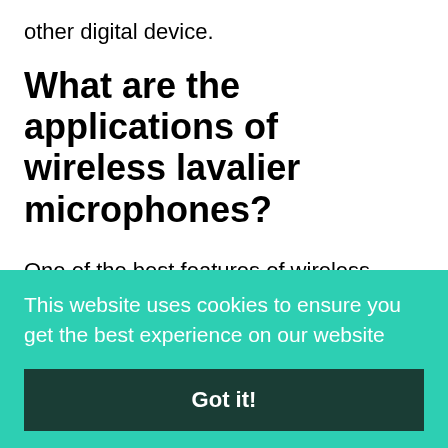other digital device.
What are the applications of wireless lavalier microphones?
One of the best features of wireless lavalier microphones is that they're multi-purpose; they're useful in a variety of professional and creative settings. As a result, most of the media sector has
This website uses cookies to ensure you get the best experience on our website
Got it!